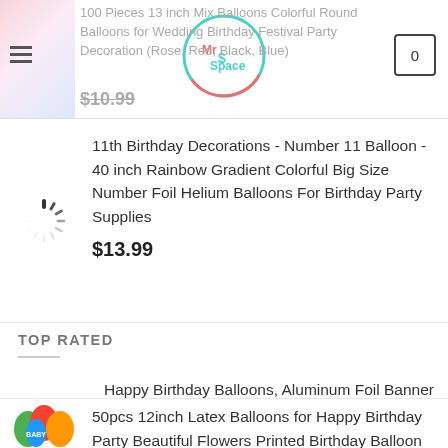100 Pieces 13 inch Mix Balloons Colorful Round Balloons for Wedding Birthday Festival Party Decoration (Rose, Red, Black, Blue)
$10.99
[Figure (logo): Mr Space logo - circular logo with teal and red circle outline]
11th Birthday Decorations - Number 11 Balloon - 40 inch Rainbow Gradient Colorful Big Size Number Foil Helium Balloons For Birthday Party Supplies
$13.99
TOP RATED
Happy Birthday Balloons, Aluminum Foil Banner Balloons for Birthday Party Decorations and Supplies (Red)
$5.99
50pcs 12inch Latex Balloons for Happy Birthday Party Beautiful Flowers Printed Birthday Balloon